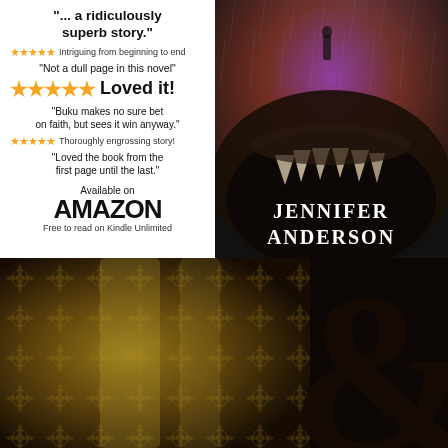[Figure (illustration): Book advertisement showing a book cover for Jennifer Anderson with a monster/creature image, and reviews on the left side. Below is a dark decorative photo with a large ampersand symbol.]
"... a ridiculously superb story."
★★★★★ Intriguing from beginning to end
"Not a dull page in this novel"
★★★★★ Loved it!
"Buku makes no sure bet on faith, but sees it win anyway."
★★★★★ Thoroughly engrossing story!
"Loved the book from the first page until the last."
Available on AMAZON
Free to read on Kindle Unlimited
JENNIFER ANDERSON